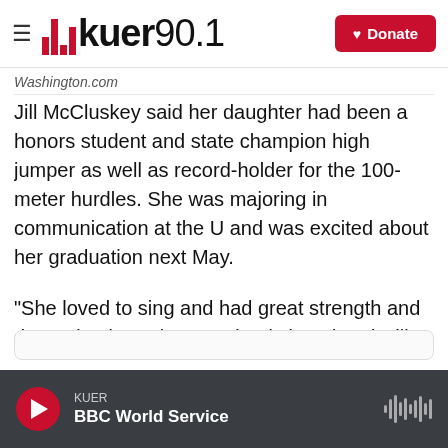KUER 90.1 — Donate
Washington.com
Jill McCluskey said her daughter had been a honors student and state champion high jumper as well as record-holder for the 100-meter hurdles. She was majoring in communication at the U and was excited about her graduation next May.
“She loved to sing and had great strength and determination. She was dearly loved and will be greatly missed,” her mother said.
KUER — BBC World Service